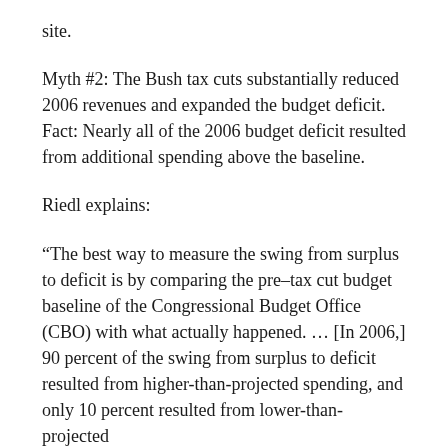site.
Myth #2: The Bush tax cuts substantially reduced 2006 revenues and expanded the budget deficit. Fact: Nearly all of the 2006 budget deficit resulted from additional spending above the baseline.
Riedl explains:
“The best way to measure the swing from surplus to deficit is by comparing the pre–tax cut budget baseline of the Congressional Budget Office (CBO) with what actually happened. … [In 2006,] 90 percent of the swing from surplus to deficit resulted from higher-than-projected spending, and only 10 percent resulted from lower-than-projected